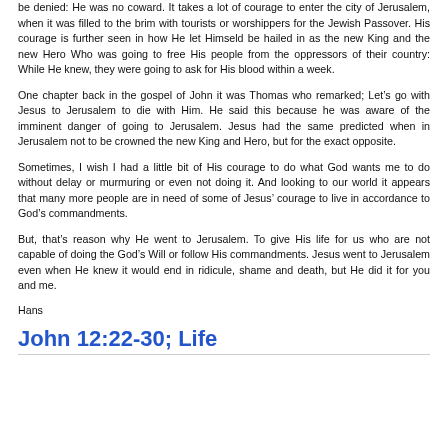be denied: He was no coward. It takes a lot of courage to enter the city of Jerusalem, when it was filled to the brim with tourists or worshippers for the Jewish Passover. His courage is further seen in how He let Himseld be hailed in as the new King and the new Hero Who was going to free His people from the oppressors of their country: While He knew, they were going to ask for His blood within a week.
One chapter back in the gospel of John it was Thomas who remarked; Let’s go with Jesus to Jerusalem to die with Him. He said this because he was aware of the imminent danger of going to Jerusalem. Jesus had the same predicted when in Jerusalem not to be crowned the new King and Hero, but for the exact opposite.
Sometimes, I wish I had a little bit of His courage to do what God wants me to do without delay or murmuring or even not doing it. And looking to our world it appears that many more people are in need of some of Jesus’ courage to live in accordance to God’s commandments.
But, that’s reason why He went to Jerusalem. To give His life for us who are not capable of doing the God’s Will or follow His commandments. Jesus went to Jerusalem even when He knew it would end in ridicule, shame and death, but He did it for you and me.
Hans
John 12:22-30; Life